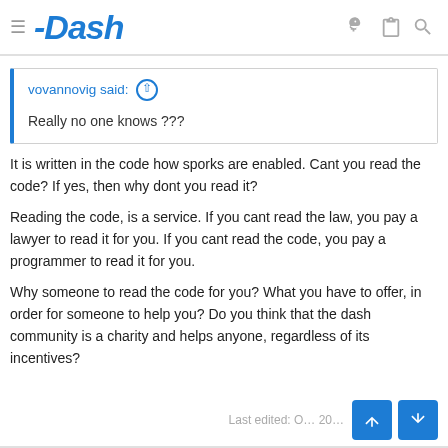Dash
vovannovig said: ↑
Really no one knows ???
It is written in the code how sporks are enabled. Cant you read the code? If yes, then why dont you read it?

Reading the code, is a service. If you cant read the law, you pay a lawyer to read it for you. If you cant read the code, you pay a programmer to read it for you.

Why someone to read the code for you? What you have to offer, in order for someone to help you? Do you think that the dash community is a charity and helps anyone, regardless of its incentives?
Last edited: O... 20...